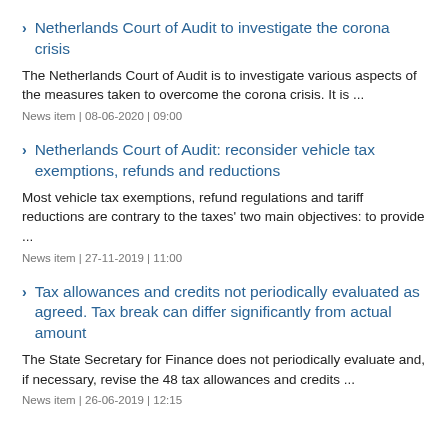Netherlands Court of Audit to investigate the corona crisis
The Netherlands Court of Audit is to investigate various aspects of the measures taken to overcome the corona crisis. It is ...
News item | 08-06-2020 | 09:00
Netherlands Court of Audit: reconsider vehicle tax exemptions, refunds and reductions
Most vehicle tax exemptions, refund regulations and tariff reductions are contrary to the taxes' two main objectives: to provide ...
News item | 27-11-2019 | 11:00
Tax allowances and credits not periodically evaluated as agreed. Tax break can differ significantly from actual amount
The State Secretary for Finance does not periodically evaluate and, if necessary, revise the 48 tax allowances and credits ...
News item | 26-06-2019 | 12:15